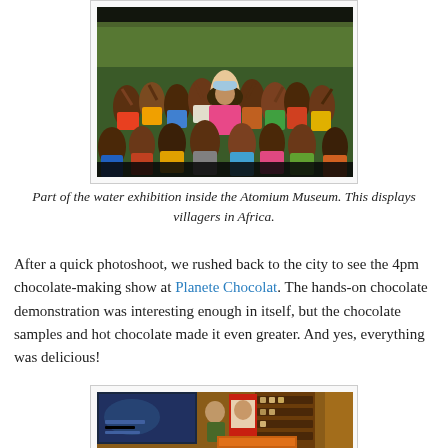[Figure (photo): Crowd of villagers in Africa, part of the water exhibition inside the Atomium Museum. People raising hands and celebrating outdoors.]
Part of the water exhibition inside the Atomium Museum.  This displays villagers in Africa.
After a quick photoshoot, we rushed back to the city to see the 4pm chocolate-making show at Planete Chocolat.  The hands-on chocolate demonstration was interesting enough in itself, but the chocolate samples and hot chocolate made it even greater.  And yes, everything was delicious!
[Figure (photo): Interior of Planete Chocolat chocolate shop showing a presentation with a screen and vintage advertisement posters, shelves of chocolate products.]